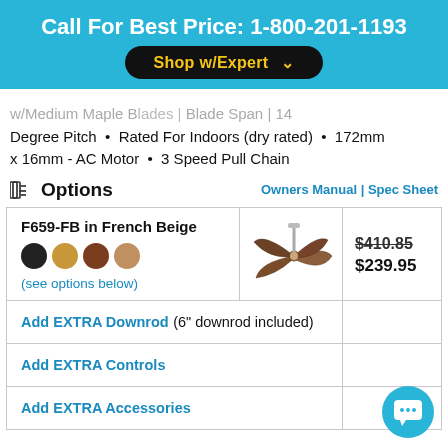Call For Best Price: 1-800-201-1193
w/Medium Maple Blades | Blade Span | 14 Degree Pitch • Rated For Indoors (dry rated) • 172mm x 16mm - AC Motor • 3 Speed Pull Chain
Options
Owners Manual | Spec Sheet
| Product | Image | Price |
| --- | --- | --- |
| F659-FB in French Beige (see options below) | [fan image] | $410.85 / $239.95 |
| Add EXTRA Downrod (6" downrod included) |  |  |
| Add EXTRA Controls |  |  |
| Add EXTRA Accessories |  |  |